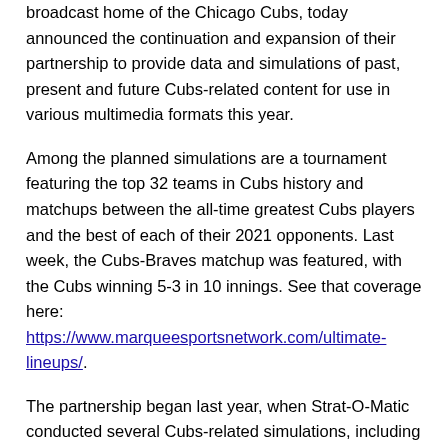broadcast home of the Chicago Cubs, today announced the continuation and expansion of their partnership to provide data and simulations of past, present and future Cubs-related content for use in various multimedia formats this year.
Among the planned simulations are a tournament featuring the top 32 teams in Cubs history and matchups between the all-time greatest Cubs players and the best of each of their 2021 opponents. Last week, the Cubs-Braves matchup was featured, with the Cubs winning 5-3 in 10 innings. See that coverage here: https://www.marqueesportsnetwork.com/ultimate-lineups/.
The partnership began last year, when Strat-O-Matic conducted several Cubs-related simulations, including Marquee announcer Jim Deshaies pitching against the vaunted 1927 Yankees and the Ultimate Cubs Lineup, a tournament of all-time great Cubs teams as selected by numerous Marquee broadcasters.